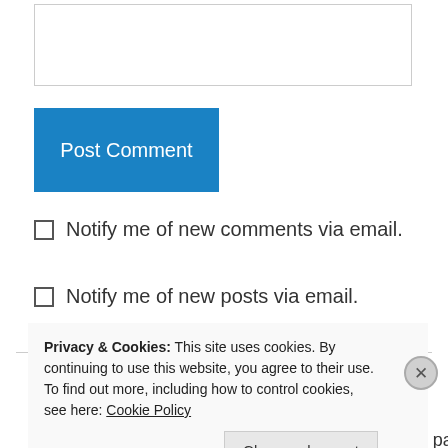[Figure (other): Text input box (comment field)]
Post Comment
Notify me of new comments via email.
Notify me of new posts via email.
[Figure (other): User avatar icon for lizziwake — green snowflake/flower pattern]
lizziwake on June 8, 2019 at 4:52 pm
Aha! You've reached the point where our paths
Privacy & Cookies: This site uses cookies. By continuing to use this website, you agree to their use.
To find out more, including how to control cookies, see here: Cookie Policy
Close and accept